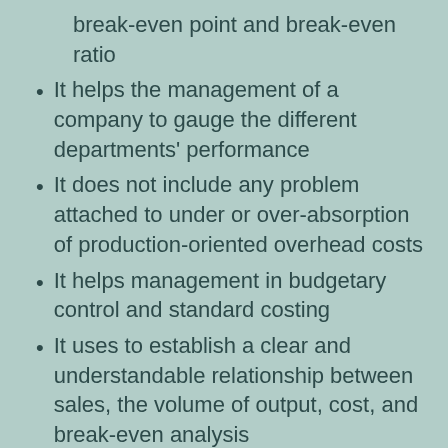break-even point and break-even ratio
It helps the management of a company to gauge the different departments' performance
It does not include any problem attached to under or over-absorption of production-oriented overhead costs
It helps management in budgetary control and standard costing
It uses to establish a clear and understandable relationship between sales, the volume of output, cost, and break-even analysis